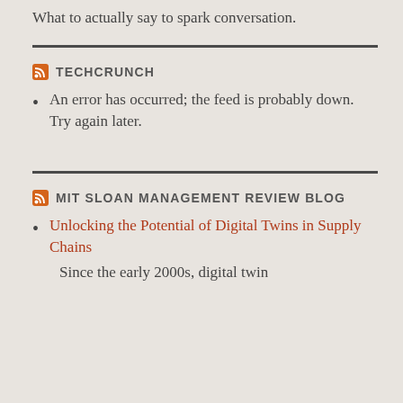What to actually say to spark conversation.
TECHCRUNCH
An error has occurred; the feed is probably down. Try again later.
MIT SLOAN MANAGEMENT REVIEW BLOG
Unlocking the Potential of Digital Twins in Supply Chains
Since the early 2000s, digital twin